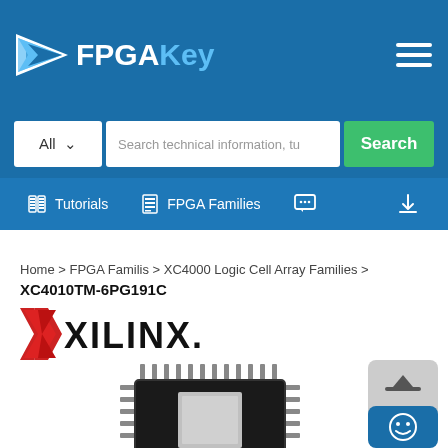FPGAKey
All  Search technical information, tu  Search
Tutorials  FPGA Families
Home > FPGA Familis > XC4000 Logic Cell Array Families > XC4010TM-6PG191C
[Figure (logo): Xilinx company logo with red X symbol and XILINX. text]
[Figure (photo): FPGA chip photo - QFP package black IC chip with pins on all four sides]